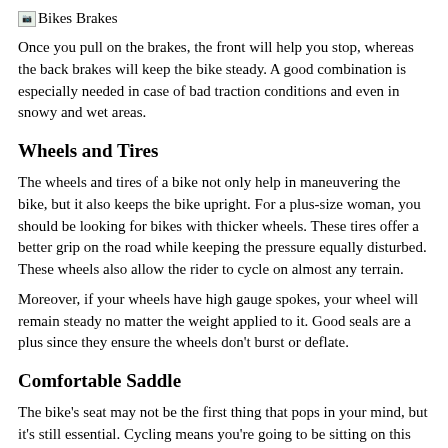Bikes Brakes
Once you pull on the brakes, the front will help you stop, whereas the back brakes will keep the bike steady. A good combination is especially needed in case of bad traction conditions and even in snowy and wet areas.
Wheels and Tires
The wheels and tires of a bike not only help in maneuvering the bike, but it also keeps the bike upright. For a plus-size woman, you should be looking for bikes with thicker wheels. These tires offer a better grip on the road while keeping the pressure equally disturbed. These wheels also allow the rider to cycle on almost any terrain.
Moreover, if your wheels have high gauge spokes, your wheel will remain steady no matter the weight applied to it. Good seals are a plus since they ensure the wheels don't burst or deflate.
Comfortable Saddle
The bike's seat may not be the first thing that pops in your mind, but it's still essential. Cycling means you're going to be sitting on this for a long time. Now imagine: your seat is super hard, and